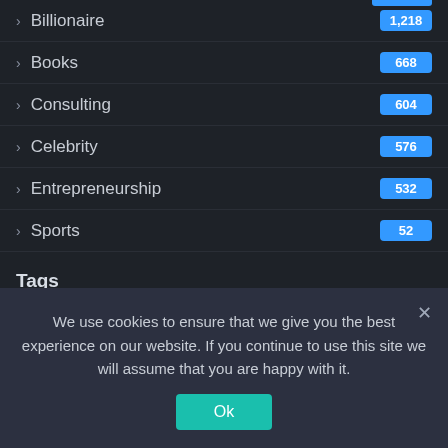Billionaire 1,218
Books 668
Consulting 604
Celebrity 576
Entrepreneurship 532
Sports 52
Tags
13F
AMERS
BACT
business
Business News
We use cookies to ensure that we give you the best experience on our website. If you continue to use this site we will assume that you are happy with it.